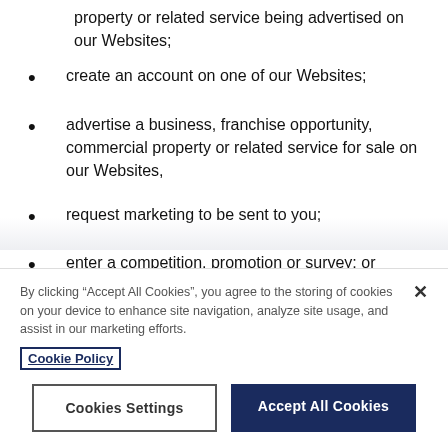property or related service being advertised on our Websites;
create an account on one of our Websites;
advertise a business, franchise opportunity, commercial property or related service for sale on our Websites,
request marketing to be sent to you;
enter a competition, promotion or survey; or
give us some feedback
By clicking “Accept All Cookies”, you agree to the storing of cookies on your device to enhance site navigation, analyze site usage, and assist in our marketing efforts. Cookie Policy
Cookies Settings | Accept All Cookies